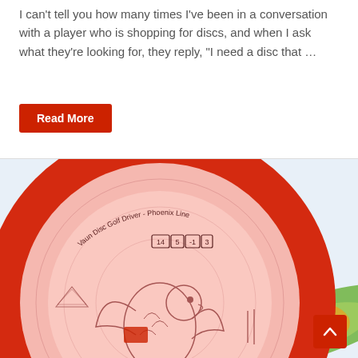I can't tell you how many times I've been in a conversation with a player who is shopping for discs, and when I ask what they're looking for, they reply, "I need a disc that …"
Read More
[Figure (photo): Close-up photo of a red disc golf disc with a phoenix/dragon illustration and text 'Vaun Disc Golf Driver - Phoenix Line' with flight numbers 14, 5, -1, 3, overlapping with a green/yellow disc.]